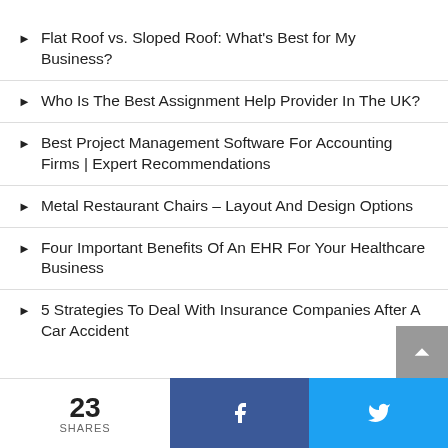Flat Roof vs. Sloped Roof: What's Best for My Business?
Who Is The Best Assignment Help Provider In The UK?
Best Project Management Software For Accounting Firms | Expert Recommendations
Metal Restaurant Chairs – Layout And Design Options
Four Important Benefits Of An EHR For Your Healthcare Business
5 Strategies To Deal With Insurance Companies After A Car Accident
23 SHARES